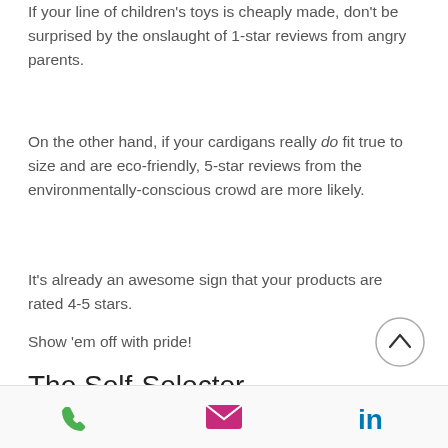If your line of children's toys is cheaply made, don't be surprised by the onslaught of 1-star reviews from angry parents.
On the other hand, if your cardigans really do fit true to size and are eco-friendly, 5-star reviews from the environmentally-conscious crowd are more likely.
It's already an awesome sign that your products are rated 4-5 stars.
Show 'em off with pride!
The Self-Selector
What comes next might remind you of
[Figure (other): Up/back arrow button in a circle]
Phone, email, and LinkedIn icons in footer bar